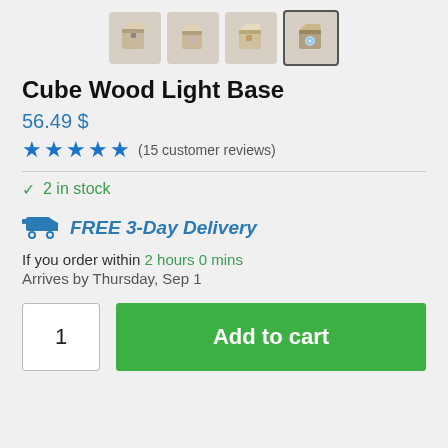[Figure (photo): Four thumbnail images of Cube Wood Light Base product — three showing wooden cube from different angles, one showing it lit up with blue light]
Cube Wood Light Base
56.49 $
★★★★★ (15 customer reviews)
✓ 2 in stock
FREE 3-Day Delivery
If you order within 2 hours 0 mins
Arrives by Thursday, Sep 1
1  Add to cart